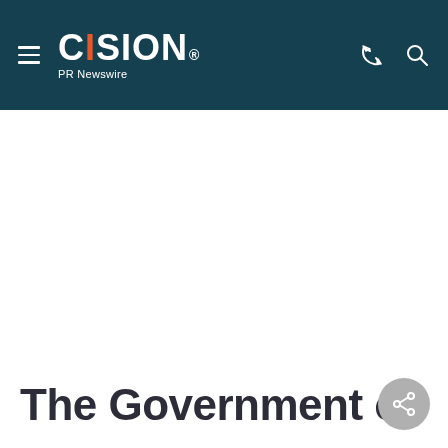CISION PR Newswire
The Government of